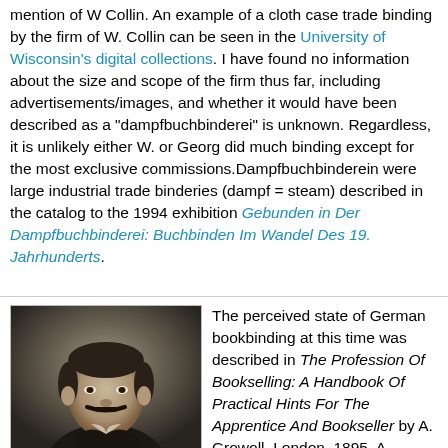mention of W Collin. An example of a cloth case trade binding by the firm of W. Collin can be seen in the University of Wisconsin's digital collections. I have found no information about the size and scope of the firm thus far, including advertisements/images, and whether it would have been described as a "dampfbuchbinderei" is unknown. Regardless, it is unlikely either W. or Georg did much binding except for the most exclusive commissions.Dampfbuchbinderein were large industrial trade binderies (dampf = steam) described in the catalog to the 1994 exhibition Gebunden in Der Dampfbuchbinderei: Buchbinden Im Wandel Des 19. Jahrhunderts.
[Figure (photo): Black and white portrait photograph of a man with a mustache, wearing a suit and tie, facing slightly to the side.]
The perceived state of German bookbinding at this time was described in The Profession Of Bookselling: A Handbook Of Practical Hints For The Apprentice And Bookseller by A. Growoll, London, 1895. A snippet describing this can be seen